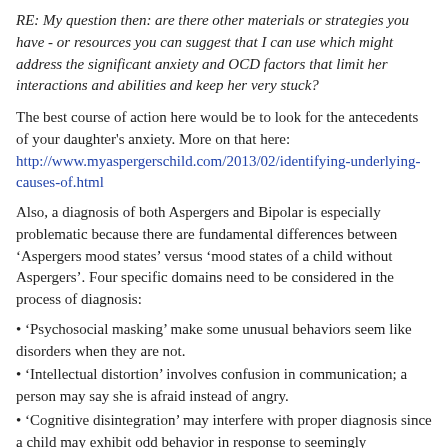RE: My question then: are there other materials or strategies you have - or resources you can suggest that I can use which might address the significant anxiety and OCD factors that limit her interactions and abilities and keep her very stuck?
The best course of action here would be to look for the antecedents of your daughter's anxiety. More on that here: http://www.myaspergerschild.com/2013/02/identifying-underlying-causes-of.html
Also, a diagnosis of both Aspergers and Bipolar is especially problematic because there are fundamental differences between ‘Aspergers mood states’ versus ‘mood states of a child without Aspergers’. Four specific domains need to be considered in the process of diagnosis:
• ‘Psychosocial masking’ make some unusual behaviors seem like disorders when they are not.
• ‘Intellectual distortion’ involves confusion in communication; a person may say she is afraid instead of angry.
• ‘Cognitive disintegration’ may interfere with proper diagnosis since a child may exhibit odd behavior in response to seemingly insignificant occurrences.
• ‘Baseline exaggeration’ differences suggest that unusual base behaviors can interfere with proper diagnosis.